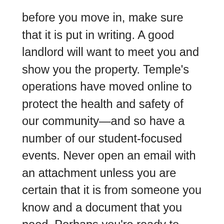before you move in, make sure that it is put in writing. A good landlord will want to meet you and show you the property. Temple's operations have moved online to protect the health and safety of our community—and so have a number of our student-focused events. Never open an email with an attachment unless you are certain that it is from someone you know and a document that you need. Perhaps you're ready to move into a more independent living arrangement in this city you've come to call home. Out of the nine off campus student housing options we viewed, the average off campus housing comes in at $8,864 compared to the average $11,424 for one of the eight on campus housing options. Now what? What times of day will they be making noise and at what times do you need quiet, and does that work for you? How